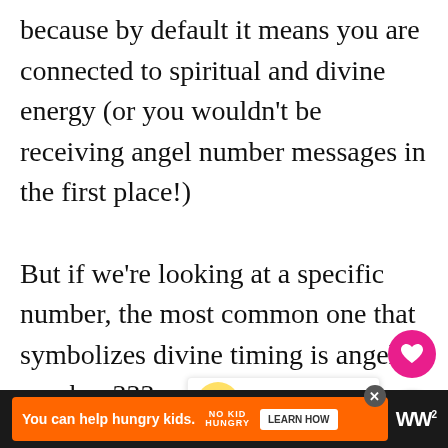because by default it means you are connected to spiritual and divine energy (or you wouldn't be receiving angel number messages in the first place!)
But if we're looking at a specific number, the most common one that symbolizes divine timing is angel number 333.
This number is all about trusting the flow of life and knowing that everything happens for a reason. When you see
[Figure (infographic): Pink heart button (like/save), grey share button with + icon, and a 'WHAT'S NEXT' promo box showing '919 Angel Number...' with a decorative image]
[Figure (infographic): Advertisement bar: orange banner 'You can help hungry kids.' with No Kid Hungry logo and LEARN HOW button, on dark background with MNN logo]